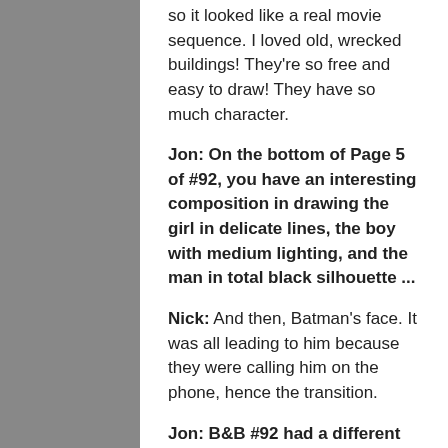so it looked like a real movie sequence. I loved old, wrecked buildings! They're so free and easy to draw! They have so much character.
Jon: On the bottom of Page 5 of #92, you have an interesting composition in drawing the girl in delicate lines, the boy with medium lighting, and the man in total black silhouette ...
Nick: And then, Batman's face. It was all leading to him because they were calling him on the phone, hence the transition.
Jon: B&B #92 had a different kind of